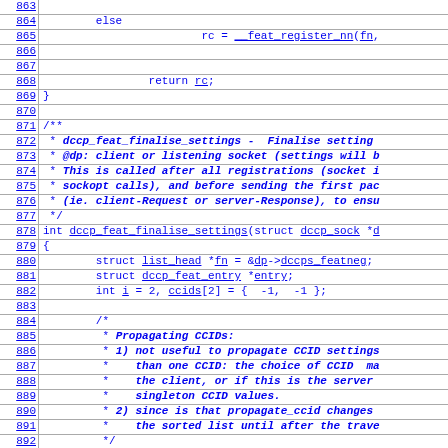Source code listing lines 863-892 showing dccp_feat_finalise_settings function in C
863: (blank)
864:     else
865:                 rc = __feat_register_nn(fn,
866: (blank)
867: (blank)
868:         return rc;
869: }
870: (blank)
871: /**
872:  * dccp_feat_finalise_settings -  Finalise settings...
873:  * @dp: client or listening socket (settings will b...
874:  * This is called after all registrations (socket i...
875:  * sockopt calls), and before sending the first pac...
876:  * (ie. client-Request or server-Response), to ensu...
877:  */
878: int dccp_feat_finalise_settings(struct dccp_sock *d...
879: {
880:         struct list_head *fn = &dp->dccps_featneg;
881:         struct dccp_feat_entry *entry;
882:         int i = 2, ccids[2] = { -1, -1 };
883: (blank)
884:         /*
885:          * Propagating CCIDs:
886:          * 1) not useful to propagate CCID settings...
887:          *    than one CCID: the choice of CCID ma...
888:          *    the client, or if this is the server ...
889:          *    singleton CCID values.
890:          * 2) since is that propagate_ccid changes...
891:          *    the sorted list until after the trave...
892:          */